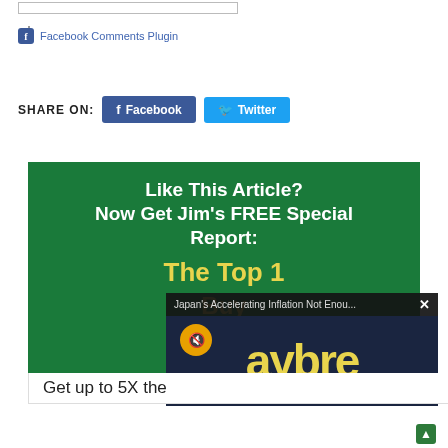[Figure (screenshot): Comment text input box with resize handle]
Facebook Comments Plugin
SHARE ON:  Facebook  Twitter
[Figure (infographic): Green promotional banner: Like This Article? Now Get Jim's FREE Special Report: The Top 1... Buy...]
[Figure (screenshot): Video popup overlay: Japan's Accelerating Inflation Not Enou... with mute button and close X, showing 'aybre' text in yellow on dark background]
Get up to 5X the...